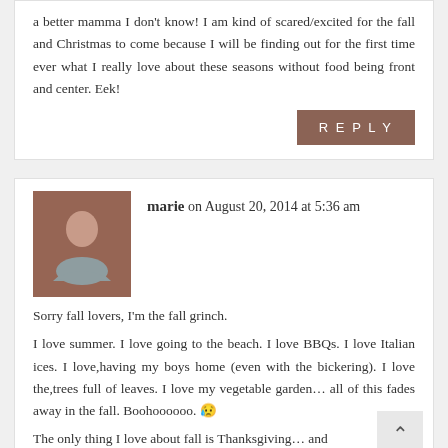a better mamma I don't know! I am kind of scared/excited for the fall and Christmas to come because I will be finding out for the first time ever what I really love about these seasons without food being front and center. Eek!
REPLY
marie on August 20, 2014 at 5:36 am
Sorry fall lovers, I'm the fall grinch. I love summer. I love going to the beach. I love BBQs. I love Italian ices. I love,having my boys home (even with the bickering). I love the,trees full of leaves. I love my vegetable garden… all of this fades away in the fall. Boohoooooo. 🙁
The only thing I love about fall is Thanksgiving… and